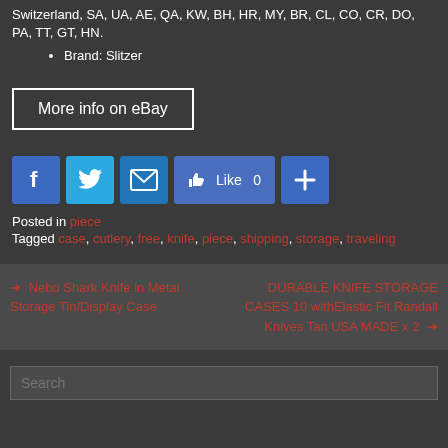Switzerland, SA, UA, AE, QA, KW, BH, HR, MY, BR, CL, CO, CR, DO, PA, TT, GT, HN.
Brand: Slitzer
[Figure (other): More info on eBay button with white border]
[Figure (infographic): Social sharing icons: Facebook, Twitter, Email, Like 0, Share plus]
Posted in piece
Tagged case, cutlery, free, knife, piece, shipping, storage, traveling
Nebo Shark Knife in Metal Storage Tin/Display Case
DURABLE KNIFE STORAGE CASES 10 withElastic Fit Randall Knives Tan USA MADE x 2